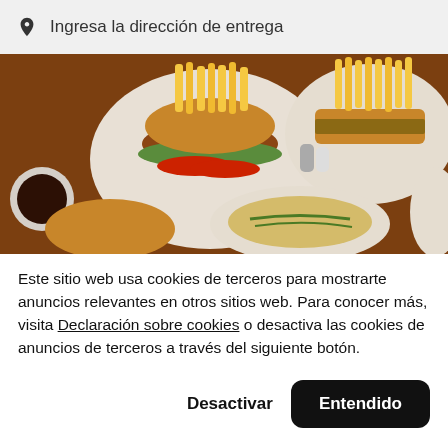Ingresa la dirección de entrega
[Figure (photo): Overhead photo of restaurant food: burgers, fries, sandwiches, buns, coffee, and plates of food on a wooden table]
Este sitio web usa cookies de terceros para mostrarte anuncios relevantes en otros sitios web. Para conocer más, visita Declaración sobre cookies o desactiva las cookies de anuncios de terceros a través del siguiente botón.
Desactivar
Entendido